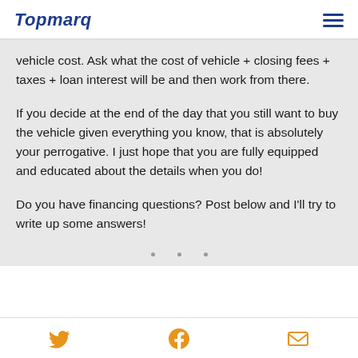Topmarq
vehicle cost. Ask what the cost of vehicle + closing fees + taxes + loan interest will be and then work from there.
If you decide at the end of the day that you still want to buy the vehicle given everything you know, that is absolutely your perrogative. I just hope that you are fully equipped and educated about the details when you do!
Do you have financing questions? Post below and I'll try to write up some answers!
Twitter | Facebook | Email